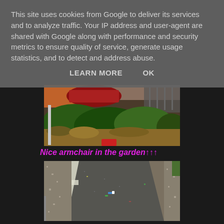This site uses cookies from Google to deliver its services and to analyze traffic. Your IP address and user-agent are shared with Google along with performance and security metrics to ensure quality of service, generate usage statistics, and to detect and address abuse.
LEARN MORE    OK
[Figure (photo): Photo of a garden scene with overgrown shrubs and bushes, a brick building in the background, and what appears to be a red vehicle or object]
Nice armchair in the garden↑↑↑
[Figure (photo): Aerial/top-down photo of a concrete or tarmac path/driveway with gravel on the sides and some small litter or object in the middle]